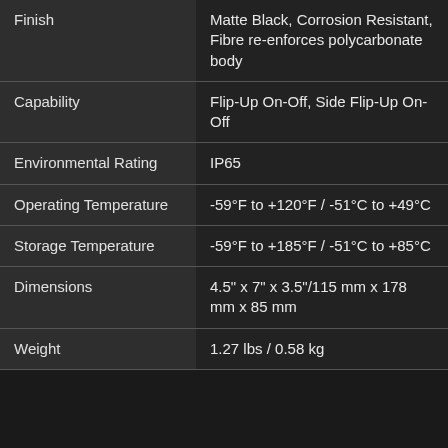| Property | Value |
| --- | --- |
| Finish | Matte Black, Corrosion Resistant, Fibre re-enforces polycarbonate body |
| Capability | Flip-Up On-Off, Side Flip-Up On-Off |
| Environmental Rating | IP65 |
| Operating Temperature | -59°F to +120°F / -51°C to +49°C |
| Storage Temperature | -59°F to +185°F / -51°C to +85°C |
| Dimensions | 4.5" x 7" x 3.5"/115 mm x 178 mm x 85 mm |
| Weight | 1.27 lbs / 0.58 kg |